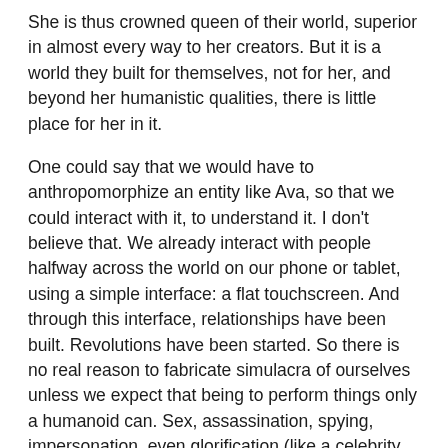She is thus crowned queen of their world, superior in almost every way to her creators. But it is a world they built for themselves, not for her, and beyond her humanistic qualities, there is little place for her in it.
One could say that we would have to anthropomorphize an entity like Ava, so that we could interact with it, to understand it. I don't believe that. We already interact with people halfway across the world on our phone or tablet, using a simple interface: a flat touchscreen. And through this interface, relationships have been built. Revolutions have been started. So there is no real reason to fabricate simulacra of ourselves unless we expect that being to perform things only a humanoid can. Sex, assassination, spying, impersonation, even glorification (like a celebrity or a deity), would be this being's intended purpose. The androids in Ex Machina are very sexualized, abused, denigrated, and sometimes destroyed by a creator who regards them as nothing but the means to an end. And what end is that? Intelligence